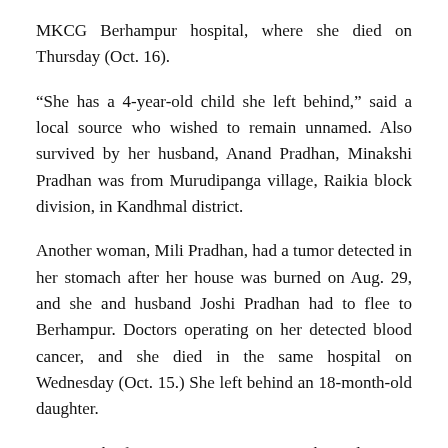MKCG Berhampur hospital, where she died on Thursday (Oct. 16).
“She has a 4-year-old child she left behind,” said a local source who wished to remain unnamed. Also survived by her husband, Anand Pradhan, Minakshi Pradhan was from Murudipanga village, Raikia block division, in Kandhmal district.
Another woman, Mili Pradhan, had a tumor detected in her stomach after her house was burned on Aug. 29, and she and husband Joshi Pradhan had to flee to Berhampur. Doctors operating on her detected blood cancer, and she died in the same hospital on Wednesday (Oct. 15.) She left behind an 18-month-old daughter.
Orissa Chief Minister Naveen Patnaik said in an interview to television channel NDTV that half of the 1,000-odd people arrested in the state for rioting belonged to the Hindu extremist